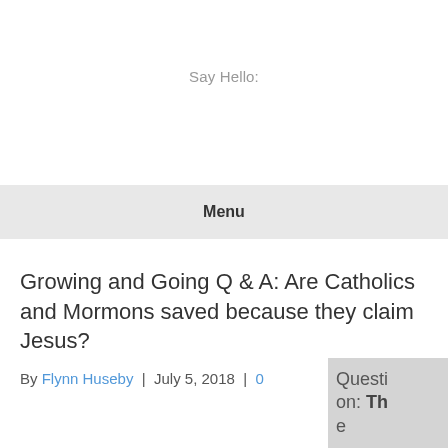Say Hello:
Menu
Growing and Going Q & A: Are Catholics and Mormons saved because they claim Jesus?
By Flynn Huseby | July 5, 2018 | 0
Question: Th e